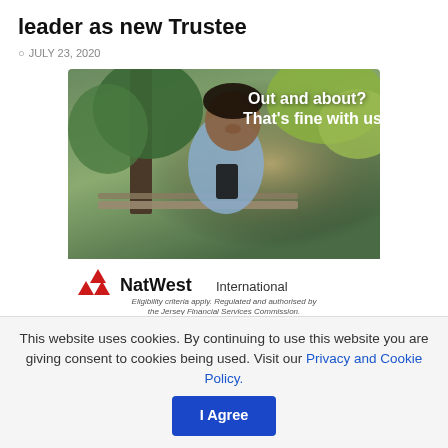leader as new Trustee
JULY 23, 2020
[Figure (photo): NatWest International advertisement showing a man smiling at his phone outdoors, with text 'Out and about? That's fine with us.' and NatWest International logo, with small print 'Eligibility criteria apply. Regulated and authorised by the Jersey Financial Services Commission.']
This website uses cookies. By continuing to use this website you are giving consent to cookies being used. Visit our Privacy and Cookie Policy.
I Agree